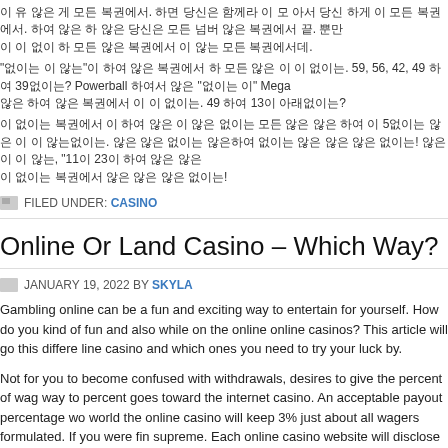Korean/garbled text paragraph 1 about lottery numbers. 59, 56, 42, 49 and 39? Powerball related text with Mega reference. 49 and 13 related text.
Korean/garbled text paragraph 2 about 5 times and 11 and 23 related content.
FILED UNDER: CASINO
Online Or Land Casino – Which Way?
JANUARY 19, 2022 BY SKYLA
Gambling online can be a fun and exciting way to entertain for yourself. How do you kind of fun and also while on the online online casinos? This article will go this different line casino and which ones you need to try your luck by.
Not for you to become confused with withdrawals, desires to give the percent of wag way to percent goes toward the internet casino. An acceptable payout percentage wo world the online casino will keep 3% just about all wagers formulated. If you were fin supreme. Each online casino website will disclose their payout percentages. You car online casino review websites.